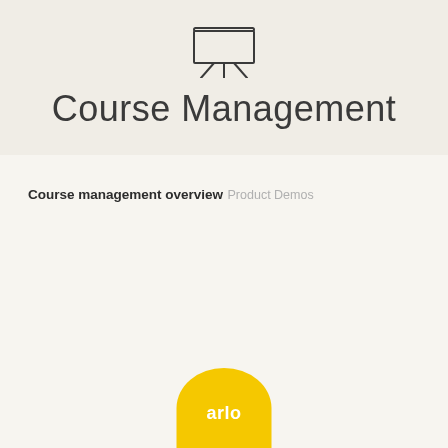[Figure (illustration): Whiteboard/presentation board icon with easel legs, rendered in thin dark outline style]
Course Management
Course management overview
Product Demos
[Figure (logo): Arlo logo — yellow semicircle/bubble shape with white bold text 'arlo' inside, cropped at bottom of page]